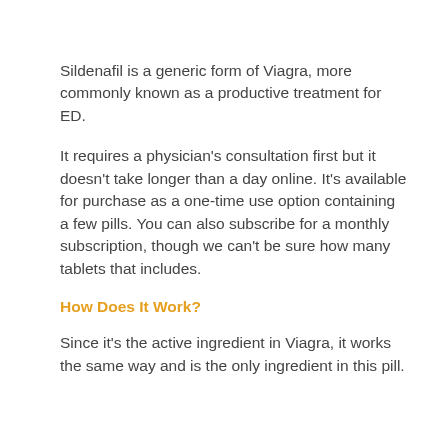Sildenafil is a generic form of Viagra, more commonly known as a productive treatment for ED.
It requires a physician's consultation first but it doesn't take longer than a day online. It's available for purchase as a one-time use option containing a few pills. You can also subscribe for a monthly subscription, though we can't be sure how many tablets that includes.
How Does It Work?
Since it's the active ingredient in Viagra, it works the same way and is the only ingredient in this pill.